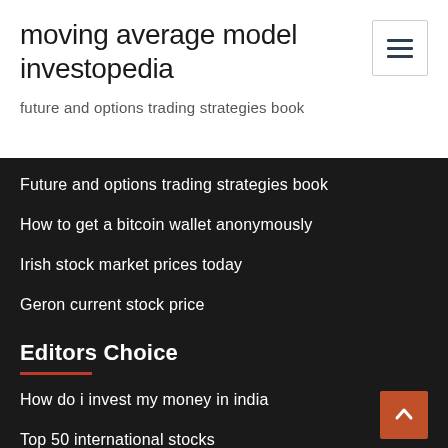moving average model investopedia
future and options trading strategies book
Future and options trading strategies book
How to get a bitcoin wallet anonymously
Irish stock market prices today
Geron current stock price
Editors Choice
How do i invest my money in india
Top 50 international stocks